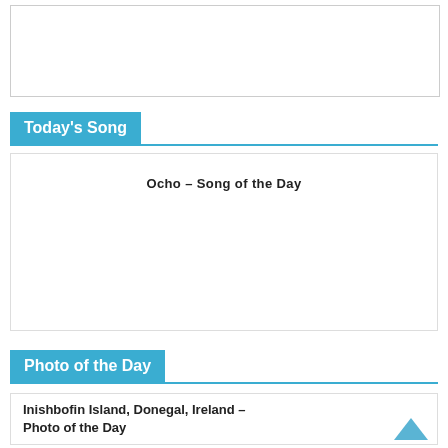[Figure (other): Empty white box with light grey border at top of page]
Today's Song
Ocho – Song of the Day
Photo of the Day
Inishbofin Island, Donegal, Ireland – Photo of the Day